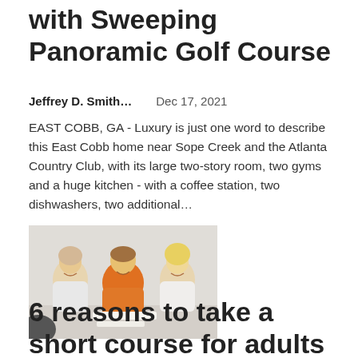with Sweeping Panoramic Golf Course
Jeffrey D. Smith…   Dec 17, 2021
EAST COBB, GA - Luxury is just one word to describe this East Cobb home near Sope Creek and the Atlanta Country Club, with its large two-story room, two gyms and a huge kitchen - with a coffee station, two dishwashers, two additional…
[Figure (photo): Three young adults (two women and one man in an orange t-shirt) sitting at a table, smiling at the camera in what appears to be a classroom or office setting.]
6 reasons to take a short course for adults